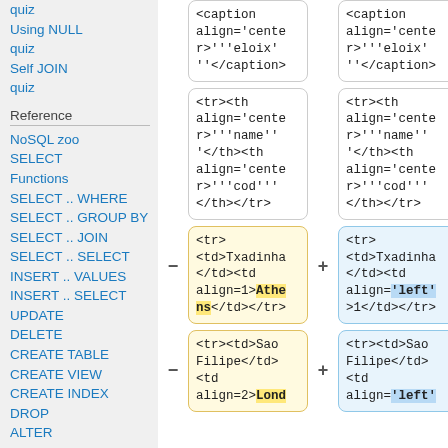quiz
Using NULL
quiz
Self JOIN
quiz
Reference
NoSQL zoo
SELECT
Functions
SELECT .. WHERE
SELECT .. GROUP BY
SELECT .. JOIN
SELECT .. SELECT
INSERT .. VALUES
INSERT .. SELECT
UPDATE
DELETE
CREATE TABLE
CREATE VIEW
CREATE INDEX
DROP
ALTER
UNION
<caption align='center'>'''eloix''</caption>
<caption align='center'>'''eloix''</caption>
<tr><th align='center'>'''name''</th><th align='center'>'''cod'''</th></tr>
<tr><th align='center'>'''name''</th><th align='center'>'''cod'''</th></tr>
<tr>
<td>Txadinha</td><td align=1>Athens</td></tr>
<tr>
<td>Txadinha</td><td align='left'>1</td></tr>
<tr><td>Sao Filipe</td>
<td align=2>Lond
<tr><td>Sao Filipe</td>
<td align='left'